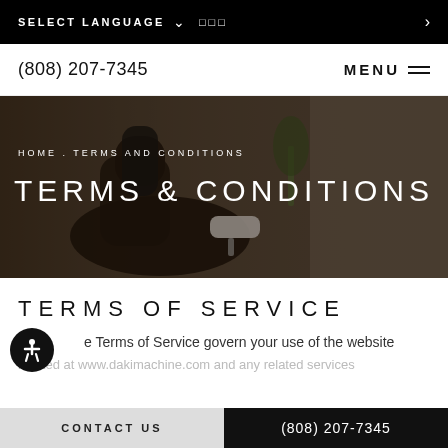SELECT LANGUAGE   ❑❑❑   >
(808) 207-7345   MENU
[Figure (photo): Spa or salon interior with a dark reclining chair and a white side table, dimly lit, serving as a hero background image]
HOME . TERMS AND CONDITIONS
TERMS & CONDITIONS
TERMS OF SERVICE
The Terms of Service govern your use of the website located at www.dakimachine.com and any related services
CONTACT US   (808) 207-7345